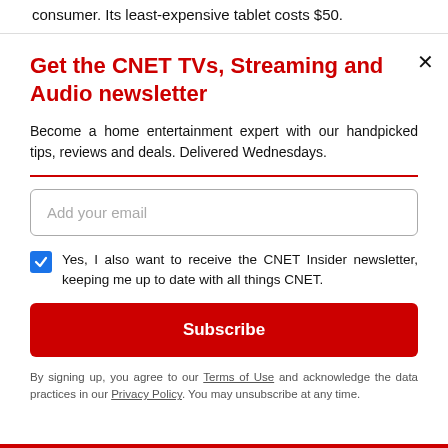consumer. Its least-expensive tablet costs $50.
Get the CNET TVs, Streaming and Audio newsletter
Become a home entertainment expert with our handpicked tips, reviews and deals. Delivered Wednesdays.
Add your email
Yes, I also want to receive the CNET Insider newsletter, keeping me up to date with all things CNET.
Subscribe
By signing up, you agree to our Terms of Use and acknowledge the data practices in our Privacy Policy. You may unsubscribe at any time.